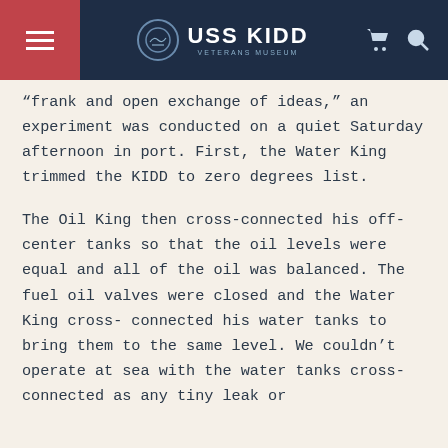USS KIDD VETERANS MUSEUM
“frank and open exchange of ideas,” an experiment was conducted on a quiet Saturday afternoon in port. First, the Water King trimmed the KIDD to zero degrees list.
The Oil King then cross-connected his off-center tanks so that the oil levels were equal and all of the oil was balanced. The fuel oil valves were closed and the Water King cross-connected his water tanks to bring them to the same level. We couldn’t operate at sea with the water tanks cross-connected as any tiny leak or